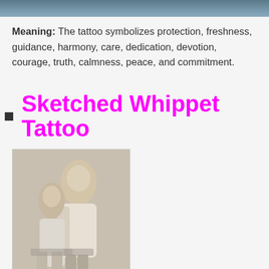[Figure (photo): Top partial image strip showing a dark bluish-gray gradient banner at the top of the page]
Meaning: The tattoo symbolizes protection, freshness, guidance, harmony, care, dedication, devotion, courage, truth, calmness, peace, and commitment.
Sketched Whippet Tattoo
[Figure (photo): Advertisement photo showing a caregiver helping an elderly woman with a walker]
sevita Senior Care Jobs in Ashburn Apply Now
jobble.com
No more using the ladder to clean your gutters
Gutterglove